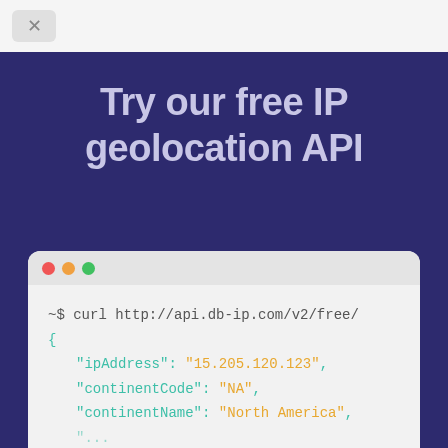[Figure (screenshot): Top browser-like bar with a close/collapse button (X) on a light gray background]
Try our free IP geolocation API
[Figure (screenshot): Terminal/code window showing a curl command and JSON response with ipAddress, continentCode, and continentName fields]